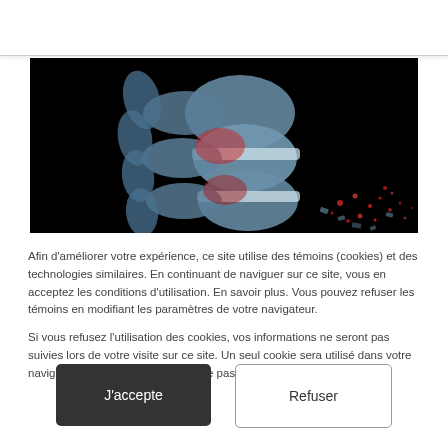[Figure (photo): 3D rendered medical image of a spine/vertebrae with red highlights and fragmenting particles on a black background]
Afin d'améliorer votre expérience, ce site utilise des témoins (cookies) et des technologies similaires. En continuant de naviguer sur ce site, vous en acceptez les conditions d'utilisation. En savoir plus. Vous pouvez refuser les témoins en modifiant les paramètres de votre navigateur.
Si vous refusez l'utilisation des cookies, vos informations ne seront pas suivies lors de votre visite sur ce site. Un seul cookie sera utilisé dans votre navigateur afin de se souvenir de ne pas suivre vos préférences.